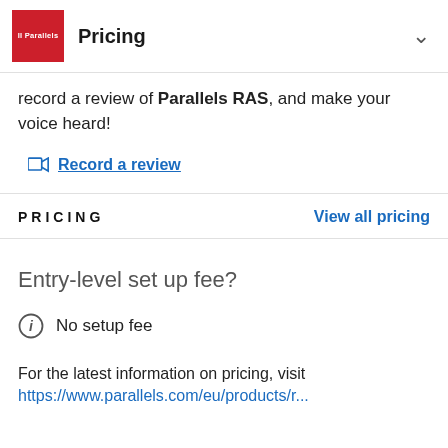Pricing
record a review of Parallels RAS, and make your voice heard!
Record a review
PRICING
View all pricing
Entry-level set up fee?
No setup fee
For the latest information on pricing, visit
https://www.parallels.com/eu/products/r...